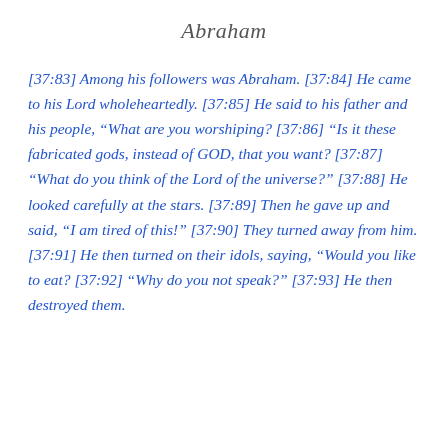Abraham
[37:83] Among his followers was Abraham. [37:84] He came to his Lord wholeheartedly. [37:85] He said to his father and his people, “What are you worshiping? [37:86] “Is it these fabricated gods, instead of GOD, that you want? [37:87] “What do you think of the Lord of the universe?” [37:88] He looked carefully at the stars. [37:89] Then he gave up and said, “I am tired of this!” [37:90] They turned away from him. [37:91] He then turned on their idols, saying, “Would you like to eat? [37:92] “Why do you not speak?” [37:93] He then destroyed them.